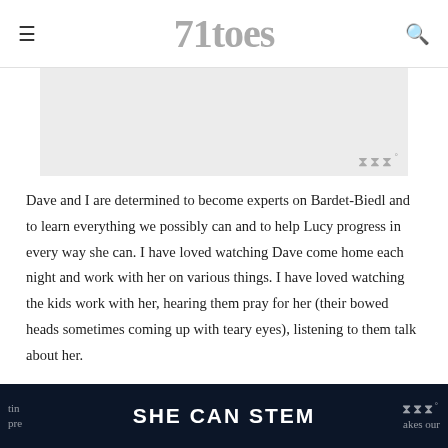71toes
[Figure (photo): Partially visible image placeholder with a watermark icon in bottom-right corner]
Dave and I are determined to become experts on Bardet-Biedl and to learn everything we possibly can and to help Lucy progress in every way she can. I have loved watching Dave come home each night and work with her on various things. I have loved watching the kids work with her, hearing them pray for her (their bowed heads sometimes coming up with teary eyes), listening to them talk about her.
One thing’s for sure: we couldn’t be more thankful to have this
SHE CAN STEM